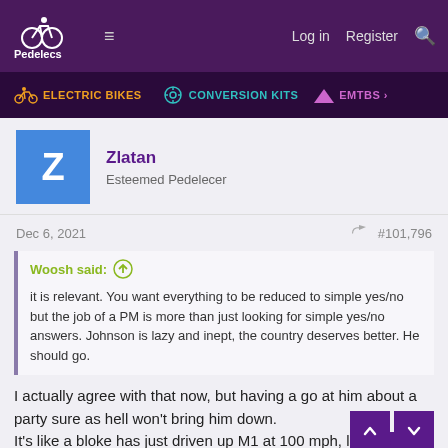Pedelecs — Log in  Register
ELECTRIC BIKES  CONVERSION KITS  EMTBS
Zlatan
Esteemed Pedelecer
Dec 6, 2021  #101,796
Woosh said: ↑

it is relevant. You want everything to be reduced to simple yes/no but the job of a PM is more than just looking for simple yes/no answers. Johnson is lazy and inept, the country deserves better. He should go.
I actually agree with that now, but having a go at him about a party sure as hell won't bring him down.
It's like a bloke has just driven up M1 at 100 mph, le...ra... incident behind him, full his opinions of him as a...